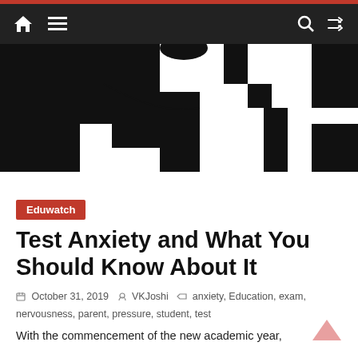Navigation bar with home, menu, search, and shuffle icons
[Figure (illustration): Close-up black and white illustration of a person sitting at a desk, hunched over, suggesting stress or anxiety. Only the torso, arms, and desk are visible in extreme close-up.]
Eduwatch
Test Anxiety and What You Should Know About It
October 31, 2019  VKJoshi  anxiety, Education, exam, nervousness, parent, pressure, student, test
With the commencement of the new academic year,